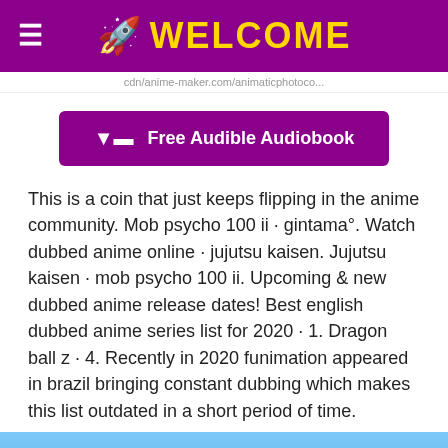🚀 WELCOME
cdn/anime-maker.com/animaticphotoco...
[Figure (other): Purple button with download icon: Free Audible Audiobook]
This is a coin that just keeps flipping in the anime community. Mob psycho 100 ii · gintama°. Watch dubbed anime online · jujutsu kaisen. Jujutsu kaisen · mob psycho 100 ii. Upcoming & new dubbed anime release dates! Best english dubbed anime series list for 2020 · 1. Dragon ball z · 4. Recently in 2020 funimation appeared in brazil bringing constant dubbing which makes this list outdated in a short period of time.
[Figure (photo): Image showing an anime character silhouette with dark spiky hair against a blue sky background, with a purple scroll-to-top button in the bottom right corner.]